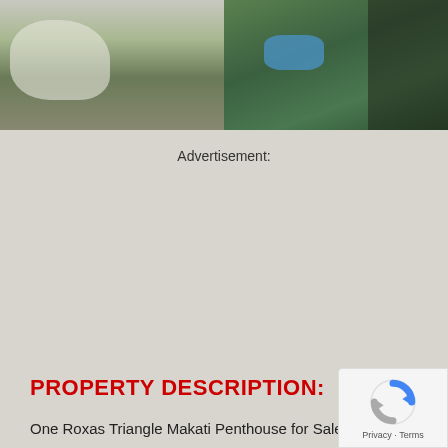[Figure (photo): Aerial/outdoor photo showing what appears to be a white animal or statue on the left side and lush green trees with a blue pool area on the right, with a dark building edge at far right.]
Advertisement:
PROPERTY DESCRIPTION:
One Roxas Triangle Makati Penthouse for Sale
[Figure (logo): reCAPTCHA badge with Privacy - Terms text]